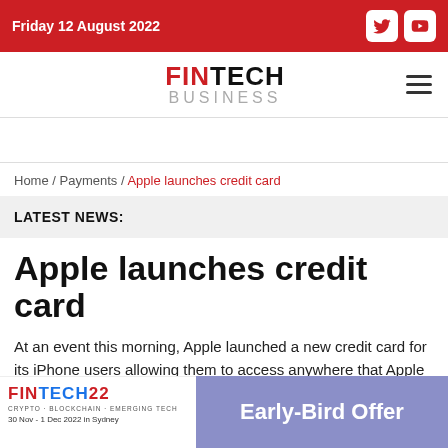Friday 12 August 2022
FINTECH BUSINESS
Home / Payments / Apple launches credit card
LATEST NEWS:
Apple launches credit card
At an event this morning, Apple launched a new credit card for its iPhone users allowing them to access anywhere that Apple Pay is a
[Figure (advertisement): FINTECH22 conference banner - 30 Nov - 1 Dec 2022 in Sydney]
[Figure (advertisement): Early-Bird Offer promotional banner with purple background]